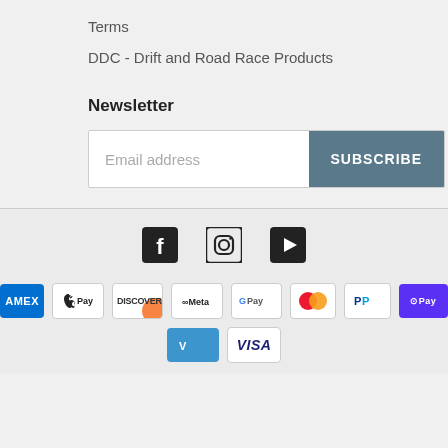Terms
DDC – Drift and Road Race Products
Newsletter
Email address
SUBSCRIBE
[Figure (logo): Social media icons: Facebook, Instagram, YouTube]
[Figure (logo): Payment method icons: American Express, Apple Pay, Discover, Meta Pay, Google Pay, Mastercard, PayPal, Shop Pay, Venmo, Visa]